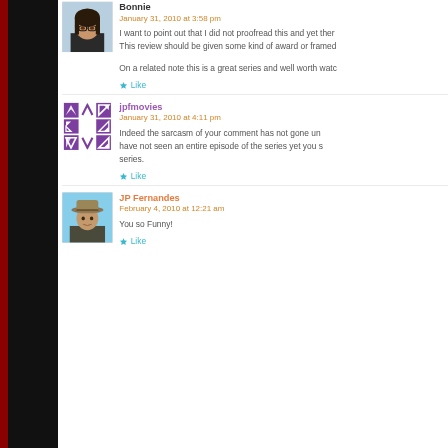Bonnie
January 31, 2010 at 3:58 pm
I want to point out that I did not proofread this and yet ther... This review should be given some kind of award or framed...
On a related note this is a great series and well worth watc...
Like
jpfmovies
January 31, 2010 at 4:11 pm
Indeed the sarcasm of your comment has not gone un... have not seen an entire episode of the series yet you s... series.
Like
JP Fernandes
February 4, 2010 at 12:21 am
You so Funny!
Like